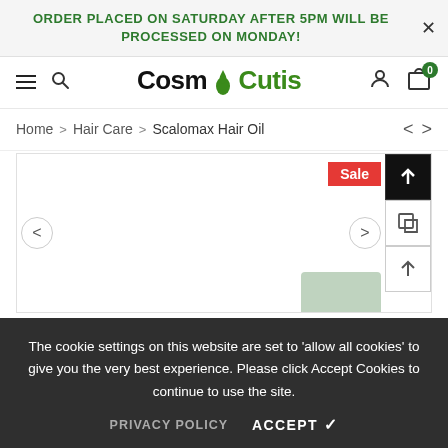ORDER PLACED ON SATURDAY AFTER 5PM WILL BE PROCESSED ON MONDAY!
[Figure (logo): CosmoCutis logo with green flame accent on the letter O]
Home > Hair Care > Scalomax Hair Oil
[Figure (photo): Product image area for Scalomax Hair Oil with Sale badge]
The cookie settings on this website are set to 'allow all cookies' to give you the very best experience. Please click Accept Cookies to continue to use the site.
PRIVACY POLICY    ACCEPT ✓